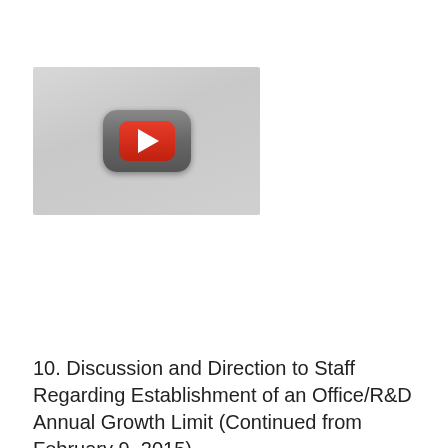[Figure (screenshot): YouTube-style video thumbnail placeholder with a gray background and a YouTube play button (red rounded square with white play triangle) centered on the image.]
10. Discussion and Direction to Staff Regarding Establishment of an Office/R&D Annual Growth Limit (Continued from February 9, 2015)